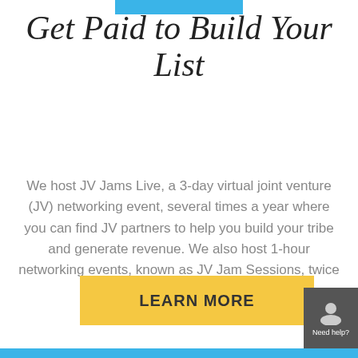Get Paid to Build Your List
We host JV Jams Live, a 3-day virtual joint venture (JV) networking event, several times a year where you can find JV partners to help you build your tribe and generate revenue.  We also host 1-hour networking events, known as JV Jam Sessions, twice a month.
[Figure (other): Yellow 'LEARN MORE' button]
[Figure (other): Dark grey help widget with headset icon and 'Need help?' text]